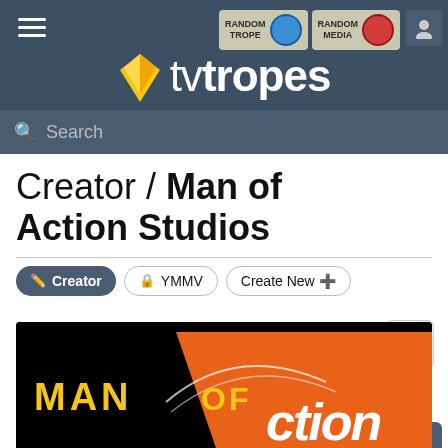TV Tropes navigation header with hamburger menu, Random Trope button, Random Media button, user icon, TV Tropes logo, and search bar
Creator / Man of Action Studios
Creator | YMMV | Create New
[Figure (logo): Man of Action Studios logo — black background with orange diagonal shape and yellow 'MAN OF' text with stylized 'action' lettering in white]